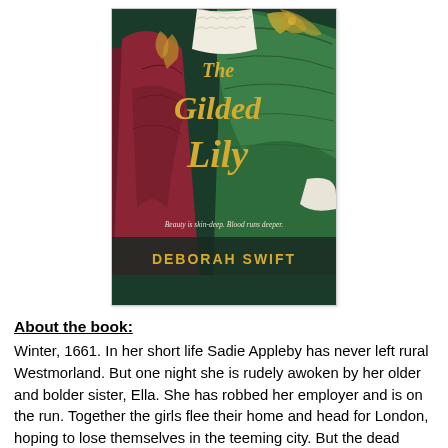[Figure (illustration): Book cover of 'The Gilded Lily' by Deborah Swift. Shows two women in Victorian/Restoration-era dress — one in crimson and one in emerald green with lace trim. Title 'The Gilded Lily' in ornate gold script. Tagline: 'Beauty is skin-deep. Blood runs deeper.' Author name 'DEBORAH SWIFT' in gold capitals at bottom.]
About the book:
Winter, 1661. In her short life Sadie Appleby has never left rural Westmorland. But one night she is rudely awoken by her older and bolder sister, Ella. She has robbed her employer and is on the run. Together the girls flee their home and head for London, hoping to lose themselves in the teeming city. But the dead man's relatives are in pursuit, and soon a game of cat and mouse ensues amongst the freezing